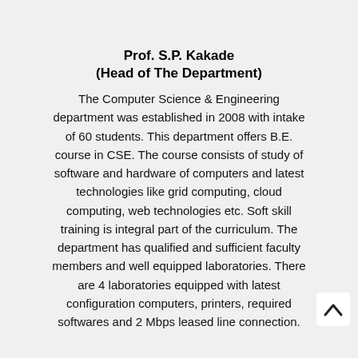Prof. S.P. Kakade
(Head of The Department)
The Computer Science & Engineering department was established in 2008 with intake of 60 students. This department offers B.E. course in CSE. The course consists of study of software and hardware of computers and latest technologies like grid computing, cloud computing, web technologies etc. Soft skill training is integral part of the curriculum. The department has qualified and sufficient faculty members and well equipped laboratories. There are 4 laboratories equipped with latest configuration computers, printers, required softwares and 2 Mbps leased line connection.
While implementing the curriculum we also emphasis on nurturing the talent of students so as to prepare them